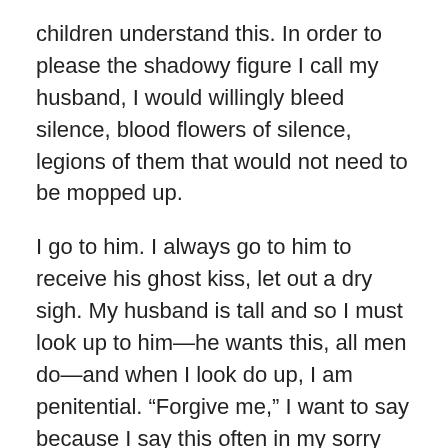children understand this. In order to please the shadowy figure I call my husband, I would willingly bleed silence, blood flowers of silence, legions of them that would not need to be mopped up.
I go to him. I always go to him to receive his ghost kiss, let out a dry sigh. My husband is tall and so I must look up to him—he wants this, all men do—and when I look do up, I am penitential. “Forgive me,” I want to say because I say this often in my sorry little voice. Instead I whisper, “did you?” Fear, like a well-kept secret, wallows in me, fear that is always the harbinger of tears.
My husband rolls his eyes—hazel eyes with tight black pupils—hard as granite, that winner of the hardness factor, then shrugs his shoulder as if they itched. “I